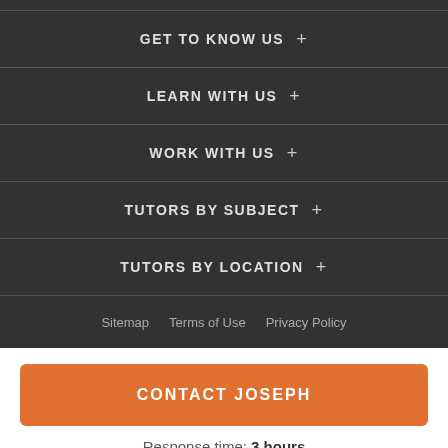GET TO KNOW US +
LEARN WITH US +
WORK WITH US +
TUTORS BY SUBJECT +
TUTORS BY LOCATION +
Sitemap   Terms of Use   Privacy Policy
CONTACT JOSEPH
Response time: 3 hours